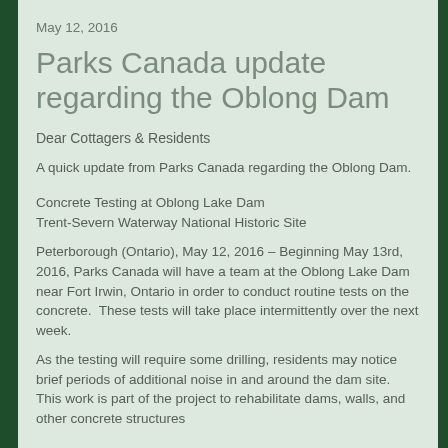May 12, 2016
Parks Canada update regarding the Oblong Dam
Dear Cottagers & Residents
A quick update from Parks Canada regarding the Oblong Dam.
Concrete Testing at Oblong Lake Dam
Trent-Severn Waterway National Historic Site
Peterborough (Ontario), May 12, 2016 – Beginning May 13rd, 2016, Parks Canada will have a team at the Oblong Lake Dam near Fort Irwin, Ontario in order to conduct routine tests on the concrete.  These tests will take place intermittently over the next week.
As the testing will require some drilling, residents may notice brief periods of additional noise in and around the dam site.
This work is part of the project to rehabilitate dams, walls, and other concrete structures